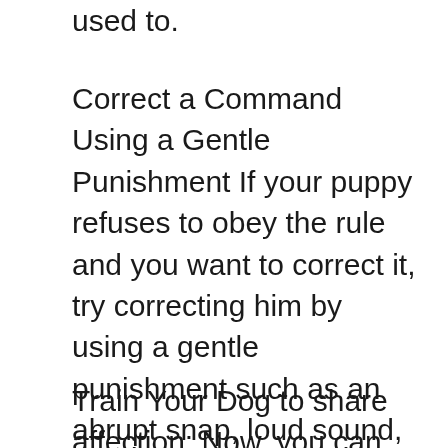used to.
Correct a Command Using a Gentle Punishment If your puppy refuses to obey the rule and you want to correct it, try correcting him by using a gentle punishment such as an abrupt snap, loud sound, or any other kind of punishment that's not harmful to him. However, you should only use a gentle punish in cases where your puppy's behavior isn't serious. You should also be sure to praise him for every good behavior, and let him know that he's been doing things right.
Train Your Dog to share affection: Now, you can also teach your dog to be affectionate with you. To teach this it is important that